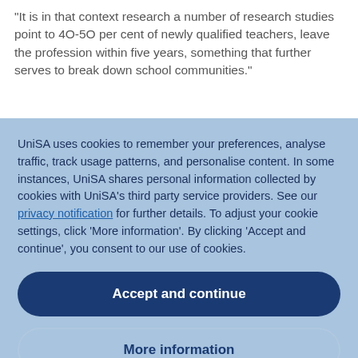"It is in that context research a number of research studies point to 40-50 per cent of newly qualified teachers, leave the profession within five years, something that further serves to break down school communities."
UniSA uses cookies to remember your preferences, analyse traffic, track usage patterns, and personalise content. In some instances, UniSA shares personal information collected by cookies with UniSA's third party service providers. See our privacy notification for further details. To adjust your cookie settings, click 'More information'. By clicking 'Accept and continue', you consent to our use of cookies.
Accept and continue
More information